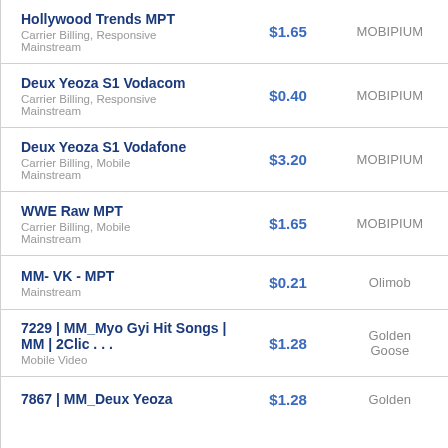| Offer Name | Price | Network |
| --- | --- | --- |
| Hollywood Trends MPT
Carrier Billing, Responsive
Mainstream | $1.65 | MOBIPIUM |
| Deux Yeoza S1 Vodacom
Carrier Billing, Responsive
Mainstream | $0.40 | MOBIPIUM |
| Deux Yeoza S1 Vodafone
Carrier Billing, Mobile
Mainstream | $3.20 | MOBIPIUM |
| WWE Raw MPT
Carrier Billing, Mobile
Mainstream | $1.65 | MOBIPIUM |
| MM- VK - MPT
Mainstream | $0.21 | Olimob |
| 7229 | MM_Myo Gyi Hit Songs | MM | 2Clic . . .
Mobile Video | $1.28 | Golden Goose |
| 7867 | MM_Deux Yeoza | $1.28 | Golden |